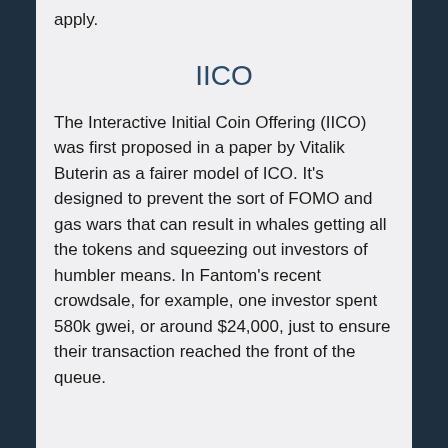apply.
IICO
The Interactive Initial Coin Offering (IICO) was first proposed in a paper by Vitalik Buterin as a fairer model of ICO. It's designed to prevent the sort of FOMO and gas wars that can result in whales getting all the tokens and squeezing out investors of humbler means. In Fantom's recent crowdsale, for example, one investor spent 580k gwei, or around $24,000, just to ensure their transaction reached the front of the queue.